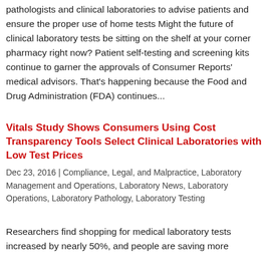pathologists and clinical laboratories to advise patients and ensure the proper use of home tests Might the future of clinical laboratory tests be sitting on the shelf at your corner pharmacy right now? Patient self-testing and screening kits continue to garner the approvals of Consumer Reports' medical advisors. That's happening because the Food and Drug Administration (FDA) continues...
Vitals Study Shows Consumers Using Cost Transparency Tools Select Clinical Laboratories with Low Test Prices
Dec 23, 2016 | Compliance, Legal, and Malpractice, Laboratory Management and Operations, Laboratory News, Laboratory Operations, Laboratory Pathology, Laboratory Testing
Researchers find shopping for medical laboratory tests increased by nearly 50%, and people are saving more